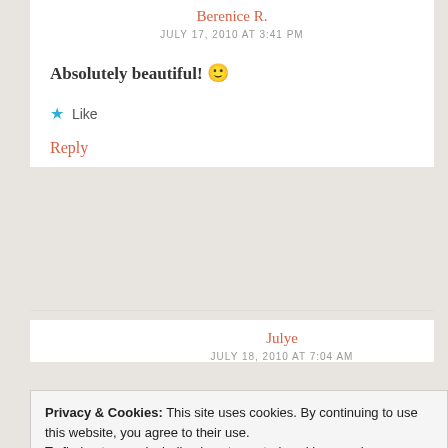Berenice R.
JULY 17, 2010 AT 3:41 PM
Absolutely beautiful! 🙂
★ Like
Reply
Julye
JULY 18, 2010 AT 7:04 AM
Privacy & Cookies: This site uses cookies. By continuing to use this website, you agree to their use.
To find out more, including how to control cookies, see here: Cookie Policy
Close and accept